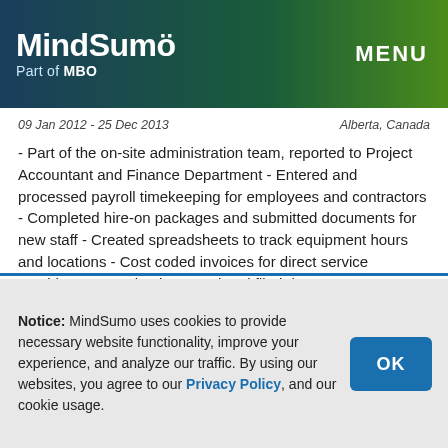MindSumo Part of MBO — MENU
09 Jan 2012 - 25 Dec 2013    Alberta, Canada
- Part of the on-site administration team, reported to Project Accountant and Finance Department - Entered and processed payroll timekeeping for employees and contractors - Completed hire-on packages and submitted documents for new staff - Created spreadsheets to track equipment hours and locations - Cost coded invoices for direct service providers - Organized, entered and filed data
Sea to Sky Community Services | Personal Support Worker
01 Jun 2016 - Present    Squamish, British Columbia
Notice: MindSumo uses cookies to provide necessary website functionality, improve your experience, and analyze our traffic. By using our websites, you agree to our Privacy Policy, and our cookie usage.